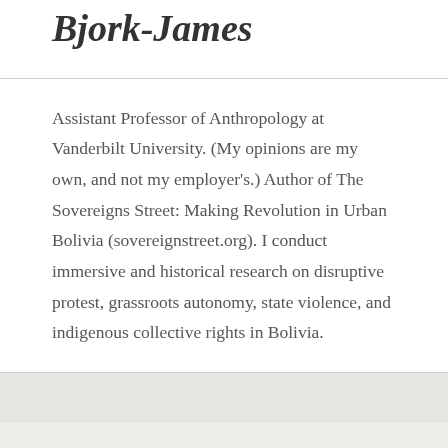Bjork-James
Assistant Professor of Anthropology at Vanderbilt University. (My opinions are my own, and not my employer's.) Author of The Sovereigns Street: Making Revolution in Urban Bolivia (sovereignstreet.org). I conduct immersive and historical research on disruptive protest, grassroots autonomy, state violence, and indigenous collective rights in Bolivia.